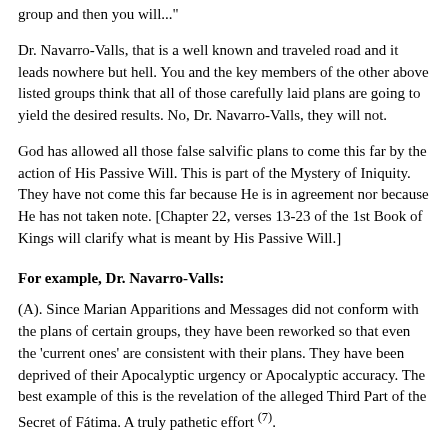group and then you will..."
Dr. Navarro-Valls, that is a well known and traveled road and it leads nowhere but hell. You and the key members of the other above listed groups think that all of those carefully laid plans are going to yield the desired results. No, Dr. Navarro-Valls, they will not.
God has allowed all those false salvific plans to come this far by the action of His Passive Will. This is part of the Mystery of Iniquity. They have not come this far because He is in agreement nor because He has not taken note. [Chapter 22, verses 13-23 of the 1st Book of Kings will clarify what is meant by His Passive Will.]
For example, Dr. Navarro-Valls:
(A). Since Marian Apparitions and Messages did not conform with the plans of certain groups, they have been reworked so that even the 'current ones' are consistent with their plans. They have been deprived of their Apocalyptic urgency or Apocalyptic accuracy. The best example of this is the revelation of the alleged Third Part of the Secret of Fátima. A truly pathetic effort (7).